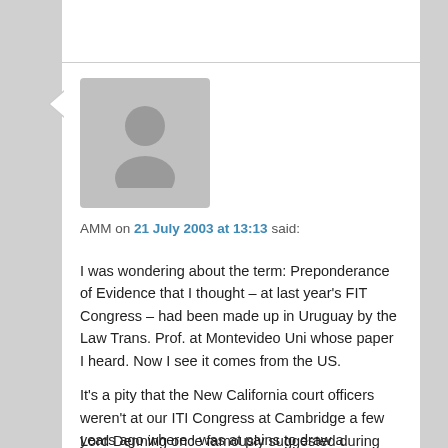[Figure (illustration): Generic grey user avatar placeholder image]
AMM on 21 July 2003 at 13:13 said:
I was wondering about the term: Preponderance of Evidence that I thought – at last year's FIT Congress – had been made up in Uruguay by the Law Trans. Prof. at Montevideo Uni whose paper I heard. Now I see it comes from the US.
It's a pity that the New California court officers weren't at our ITI Congress at Cambridge a few years ago where I was at pains to draw a distinction in my talk between the BURDEN of proof resting on the prosecution/ defence or on the claimant/ defendant – the burden can shift from one side to the other during trial or be agreed pre-trial – and the STANDARD or level of proof on the civil 'bal. of probabilities' or crim. standard of 'beyond reasonable doubt'.
Lord Denning once famously suggested during his lifetime a